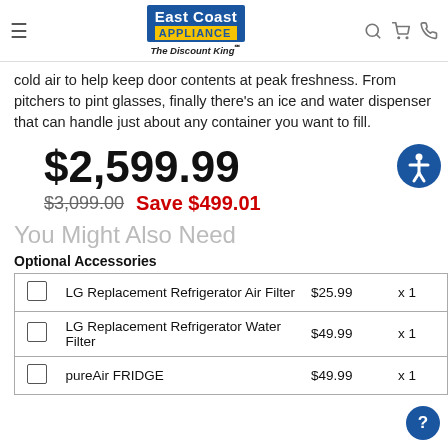East Coast Appliance — The Discount King
cold air to help keep door contents at peak freshness. From pitchers to pint glasses, finally there's an ice and water dispenser that can handle just about any container you want to fill.
$2,599.99
$3,099.00  Save $499.01
You Might Also Need
Optional Accessories
|  | Name | Price | Qty |
| --- | --- | --- | --- |
| ☐ | LG Replacement Refrigerator Air Filter | $25.99 | x 1 |
| ☐ | LG Replacement Refrigerator Water Filter | $49.99 | x 1 |
| ☐ | pureAir FRIDGE | $49.99 | x 1 |